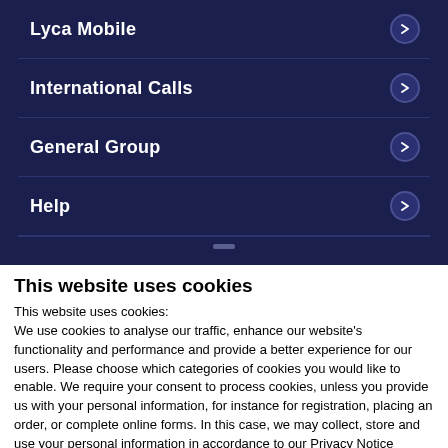Lyca Mobile
International Calls
General Group
Help
This website uses cookies
This website uses cookies:
We use cookies to analyse our traffic, enhance our website's functionality and performance and provide a better experience for our users. Please choose which categories of cookies you would like to enable. We require your consent to process cookies, unless you provide us with your personal information, for instance for registration, placing an order, or complete online forms. In this case, we may collect, store and use your personal information in accordance to our Privacy Notice
Allow selection | Allow all cookies
Necessary  Preferences  Statistics  Marketing  Show Details